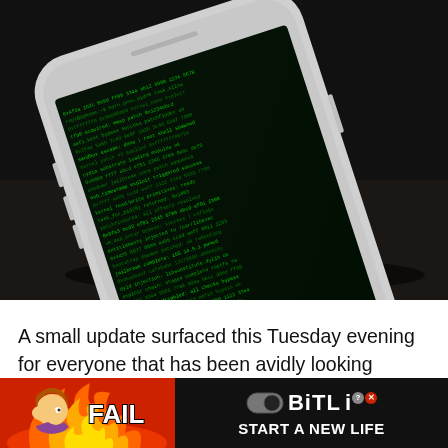[Figure (photo): Photo of a white iPhone lying on a dark surface. The phone screen displays green matrix-style code text on a black background. The phone has a round home button visible at the bottom.]
A small update surfaced this Tuesday evening for everyone that has been avidly looking forward to the public release of Linus Henze's jailbreak untether for iOS & iPadOS 14.5.1 and below
[Figure (other): Advertisement banner for BitLife game. Red background on left with animated 'FAIL' text and cartoon character with flames. Black background on right with BitLife logo (pill icon), question mark badge, close badge, and text 'START A NEW LIFE'.]